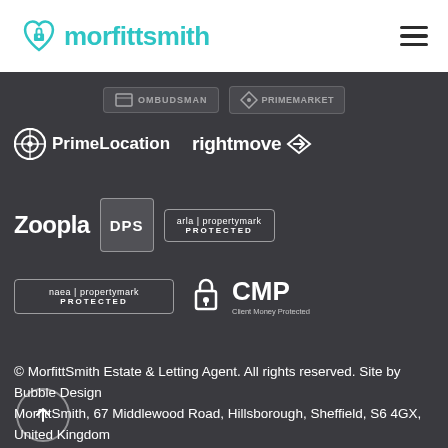[Figure (logo): MorfittSmith logo with teal heart-lock icon and teal text 'morfittsmith', hamburger menu icon on right]
[Figure (logo): Partial row of accreditation logos: Ombudsman and PrimeMarket (partially visible at top)]
[Figure (logo): PrimeLocation and rightmove logos on white icons]
[Figure (logo): Zoopla, DPS, and arla propertymark PROTECTED logos]
[Figure (logo): naea propertymark PROTECTED and CMP Client Money Protected logos]
© MorfittSmith Estate & Letting Agent. All rights reserved. Site by Bubble Design
MorfittSmith, 67 Middlewood Road, Hillsborough, Sheffield, S6 4GX, United Kingdom